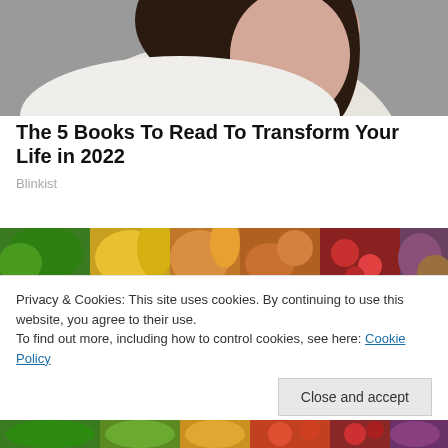[Figure (photo): Partial view of a young woman with dark hair and red lips, wearing a white top, against a grey background. Only the lower face and shoulder visible.]
The 5 Books To Read To Transform Your Life in 2022
Blinkist
[Figure (photo): Colorful array of fresh vegetables and fruits including broccoli, yellow peppers, carrots, tomatoes, mushrooms, and various other produce arranged in a horizontal strip.]
Privacy & Cookies: This site uses cookies. By continuing to use this website, you agree to their use.
To find out more, including how to control cookies, see here: Cookie Policy
[Figure (photo): Bottom strip showing colorful vegetables and fruits including green vegetables, apples, peppers, and red tomatoes.]